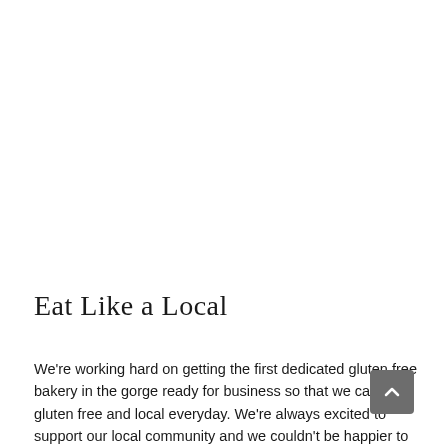Eat Like a Local
We're working hard on getting the first dedicated gluten free bakery in the gorge ready for business so that we can eat gluten free and local everyday. We're always excited to support our local community and we couldn't be happier to report that our first year at the Lyle Chocolate Festival was a great success. It wasn't just our